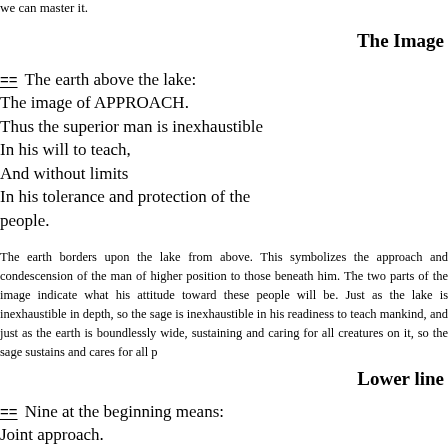we can master it.
The Image
≡≡ The earth above the lake:
The image of APPROACH.
Thus the superior man is inexhaustible
In his will to teach,
And without limits
In his tolerance and protection of the people.
The earth borders upon the lake from above. This symbolizes the approach and condescension of the man of higher position to those beneath him. The two parts of the image indicate what his attitude toward these people will be. Just as the lake is inexhaustible in depth, so the sage is inexhaustible in his readiness to teach mankind, and just as the earth is boundlessly wide, sustaining and caring for all creatures on it, so the sage sustains and cares for all p
Lower line
≡≡ Nine at the beginning means:
Joint approach.
Perseverance brings good fortune.
The good begins to prevail and to find response in circles. This in turn is an incentive to men of ability. It